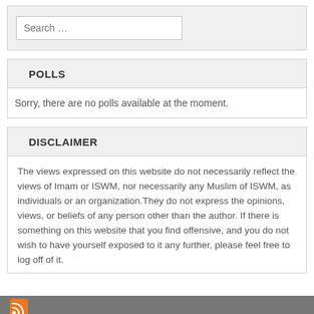Search …
POLLS
Sorry, there are no polls available at the moment.
DISCLAIMER
The views expressed on this website do not necessarily reflect the views of Imam or ISWM, nor necessarily any Muslim of ISWM, as individuals or an organization.They do not express the opinions, views, or beliefs of any person other than the author. If there is something on this website that you find offensive, and you do not wish to have yourself exposed to it any further, please feel free to log off of it.
RSS icon footer bar